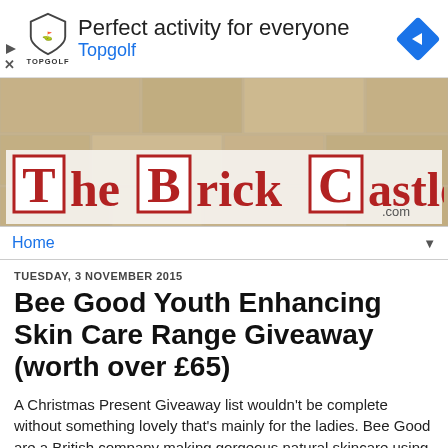[Figure (screenshot): Topgolf advertisement banner with shield logo, headline 'Perfect activity for everyone', subline 'Topgolf', and blue diamond arrow icon on right]
[Figure (photo): Stone wall texture background behind The Brick Castle blog logo]
TheBrickCastle.com
Home
TUESDAY, 3 NOVEMBER 2015
Bee Good Youth Enhancing Skin Care Range Giveaway (worth over £65)
A Christmas Present Giveaway list wouldn't be complete without something lovely that's mainly for the ladies. Bee Good are a British company making gorgeous natural skincare using the honey, propolis and beeswax from our